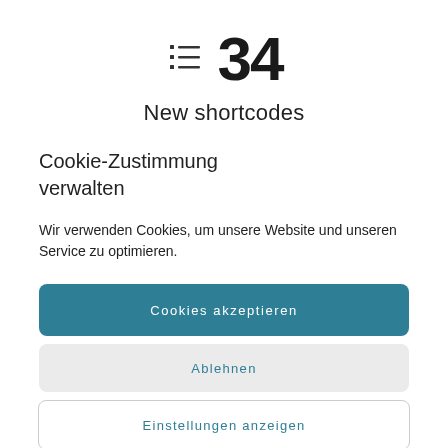[Figure (illustration): A list icon (three bullet points with horizontal lines) next to the large bold number 34]
New shortcodes
Cookie-Zustimmung verwalten
Wir verwenden Cookies, um unsere Website und unseren Service zu optimieren.
Cookies akzeptieren
Ablehnen
Einstellungen anzeigen